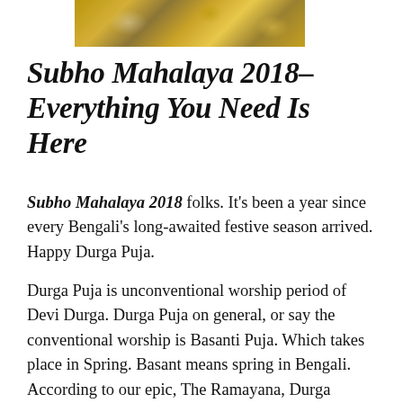[Figure (photo): Decorative photo strip showing golden/yellow floral or festival decorations against a dark background]
Subho Mahalaya 2018– Everything You Need Is Here
Subho Mahalaya 2018 folks. It's been a year since every Bengali's long-awaited festive season arrived. Happy Durga Puja.
Durga Puja is unconventional worship period of Devi Durga. Durga Puja on general, or say the conventional worship is Basanti Puja. Which takes place in Spring. Basant means spring in Bengali.
According to our epic, The Ramayana, Durga